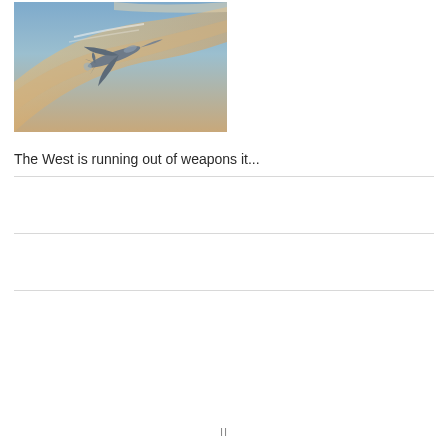[Figure (photo): A military fighter jet photographed in flight against a sky with orange and blue clouds/contrails.]
The West is running out of weapons it...
II